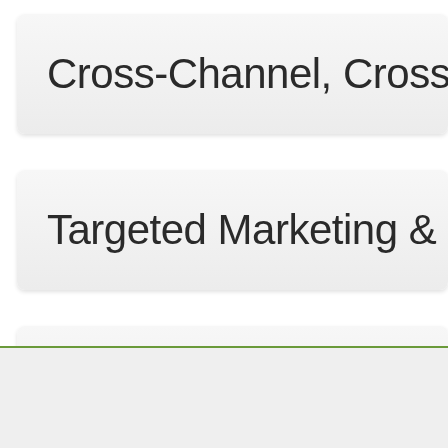Cross-Channel, Cross
Targeted Marketing &
Loyalty & Rewards